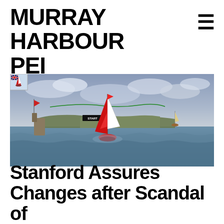MURRAY HARBOUR PEI
All you need to know
[Figure (screenshot): Sailing video game screenshot showing a red and white striped sailboat on choppy blue water near a harbour wall with a 'START' banner. A small sailboat icon appears in the upper left corner. Other boats visible in the background with cloudy sky.]
Stanford Assures Changes after Scandal of